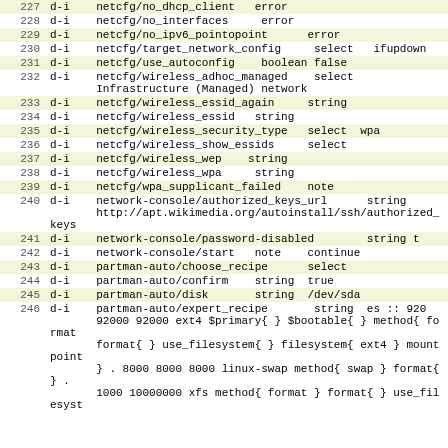| Line | Code |
| --- | --- |
| 227 | d-i    netcfg/no_dhcp_client   error |
| 228 | d-i    netcfg/no_interfaces     error |
| 229 | d-i    netcfg/no_ipv6_pointopoint      error |
| 230 | d-i    netcfg/target_network_config     select   ifupdown |
| 231 | d-i    netcfg/use_autoconfig    boolean false |
| 232 | d-i    netcfg/wireless_adhoc_managed    select
       Infrastructure (Managed) network |
| 233 | d-i    netcfg/wireless_essid_again     string |
| 234 | d-i    netcfg/wireless_essid   string |
| 235 | d-i    netcfg/wireless_security_type   select  wpa |
| 236 | d-i    netcfg/wireless_show_essids     select |
| 237 | d-i    netcfg/wireless_wep    string |
| 238 | d-i    netcfg/wireless_wpa     string |
| 239 | d-i    netcfg/wpa_supplicant_failed    note |
| 240 | d-i    network-console/authorized_keys_url      string
       http://apt.wikimedia.org/autoinstall/ssh/authorized_keys |
| 241 | d-i    network-console/password-disabled        string t |
| 242 | d-i    network-console/start   note    continue |
| 243 | d-i    partman-auto/choose_recipe      select |
| 244 | d-i    partman-auto/confirm    string  true |
| 245 | d-i    partman-auto/disk       string  /dev/sda |
| 246 | d-i    partman-auto/expert_recipe       string  es :: 920
       92000 92000 ext4 $primary{ } $bootable{ } method{ format
       format{ } use_filesystem{ } filesystem{ ext4 } mountpoint
       } . 8000 8000 8000 linux-swap method{ swap } format{ } .
       1000 10000000 xfs method{ format } format{ } use_filesyst |